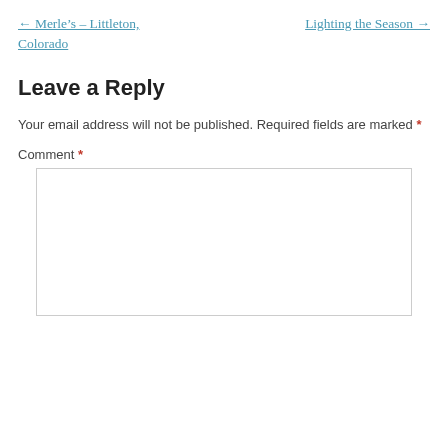← Merle's – Littleton, Colorado
Lighting the Season →
Leave a Reply
Your email address will not be published. Required fields are marked *
Comment *